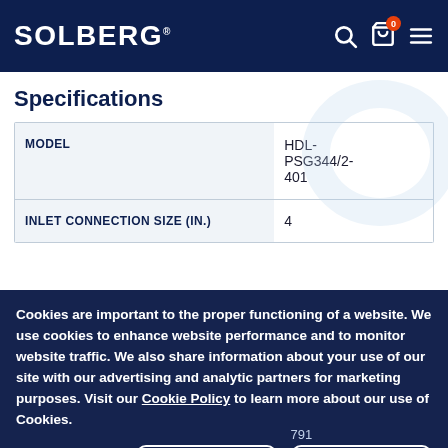SOLBERG
Specifications
| FIELD | VALUE |
| --- | --- |
| MODEL | HDL-PSG344/2-401 |
| INLET CONNECTION SIZE (IN.) | 4 |
| DIM A (MM) | 791 |
| DIM B (MM) | 229 |
| DIM C (MM) | 356 |
Cookies are important to the proper functioning of a website. We use cookies to enhance website performance and to monitor website traffic. We also share information about your use of our site with our advertising and analytic partners for marketing purposes. Visit our Cookie Policy to learn more about our use of Cookies.